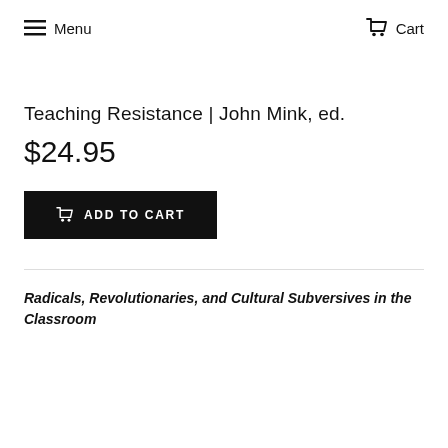Menu   Cart
Teaching Resistance | John Mink, ed.
$24.95
ADD TO CART
Radicals, Revolutionaries, and Cultural Subversives in the Classroom